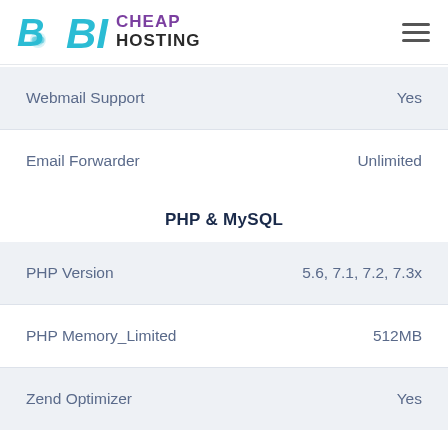[Figure (logo): Big Cheap Hosting logo with sloth icon, BIG in cyan italic, CHEAP HOSTING in purple/dark text]
| Feature | Value |
| --- | --- |
| Webmail Support | Yes |
| Email Forwarder | Unlimited |
PHP & MySQL
| Feature | Value |
| --- | --- |
| PHP Version | 5.6, 7.1, 7.2, 7.3x |
| PHP Memory_Limited | 512MB |
| Zend Optimizer | Yes |